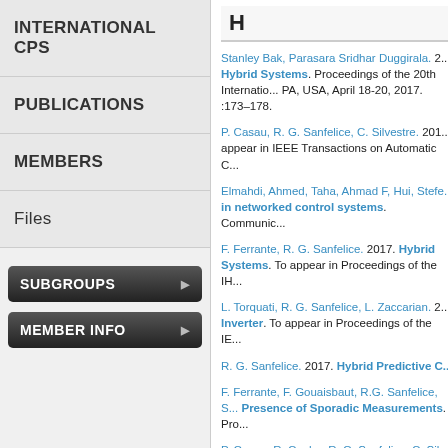INTERNATIONAL CPS
PUBLICATIONS
MEMBERS
Files
SUBGROUPS
MEMBER INFO
H
Stanley Bak, Parasara Sridhar Duggirala.  2... Hybrid Systems. Proceedings of the 20th International... PA, USA, April 18-20, 2017. :173–178.
P. Casau, R. G. Sanfelice, C. Silvestre.  201... appear in IEEE Transactions on Automatic C...
Elmahdi, Ahmed, Taha, Ahmad F, Hui, Stefe... in networked control systems. Communic...
F. Ferrante, R. G. Sanfelice.  2017.  Hybrid Systems. To appear in Proceedings of the IH...
L. Torquati, R. G. Sanfelice, L. Zaccarian.  2... Inverter. To appear in Proceedings of the IE...
R. G. Sanfelice.  2017.  Hybrid Predictive C...
F. Ferrante, F. Gouaisbaut, R.G. Sanfelice, S... Presence of Sporadic Measurements. Pro...
P. Casau, R. Cunha, R. G. Sanfelice, C. Silv... Manifold. To appear in Proceedings of the IH...
J. Chai, R. G. Sanfelice.  2015.  Hybrid Fee... 5th Analysis and Design of Hybrid Systems.
Hao-Tien Chiang, Nicholas Malone, Kendra...